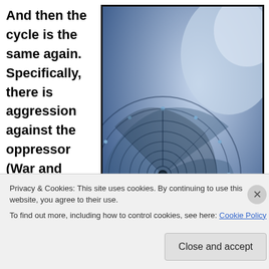And then the cycle is the same again. Specifically, there is aggression against the oppressor (War and revolution both see the
[Figure (photo): Close-up photograph of a nautilus shell cross-section showing the spiral chambers, rendered in blue tones.]
Privacy & Cookies: This site uses cookies. By continuing to use this website, you agree to their use.
To find out more, including how to control cookies, see here: Cookie Policy